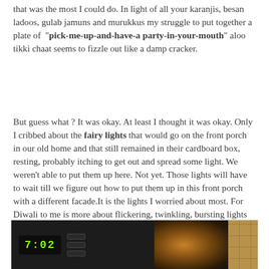that was the most I could do. In light of all your karanjis, besan ladoos, gulab jamuns and murukkus my struggle to put together a plate of "pick-me-up-and-have-a party-in-your-mouth" aloo tikki chaat seems to fizzle out like a damp cracker.
But guess what ? It was okay. At least I thought it was okay. Only I cribbed about the fairy lights that would go on the front porch in our old home and that still remained in their cardboard box, resting, probably itching to get out and spread some light. We weren't able to put them up here. Not yet. Those lights will have to wait till we figure out how to put them up in this front porch with a different facade.It is the lights I worried about most. For Diwali to me is more about flickering, twinkling, bursting lights on a dark autumn night than anything else.
[Figure (photo): Photo showing an oven control panel with a green digital display reading 7:02, alongside a glowing warm amber light area suggesting a lit oven interior, and a tiled surface on the right.]